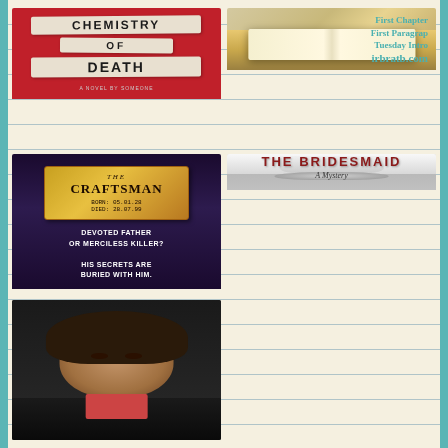[Figure (photo): Book cover: Chemistry of Death on red background with tape strips]
[Figure (photo): First Chapter First Paragraph Tuesday Intro blog banner with open book, irbratb.com]
[Figure (photo): Book cover: The Craftsman - Devoted Father or Merciless Killer? His secrets are buried with him. BORN: 05.01.28 DIED: 28.07.99]
[Figure (photo): Book cover: The Bridesmaid - A Mystery, grayscale image of wedding dress and bouquet]
[Figure (photo): Author photo: woman with brown hair wearing pink and black clothing]
[Figure (photo): Book cover: dark vintage painting style with large hat figure]